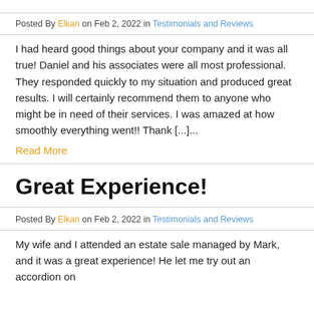Posted By Elkan on Feb 2, 2022 in Testimonials and Reviews
I had heard good things about your company and it was all true! Daniel and his associates were all most professional. They responded quickly to my situation and produced great results. I will certainly recommend them to anyone who might be in need of their services. I was amazed at how smoothly everything went!! Thank [...]...
Read More
Great Experience!
Posted By Elkan on Feb 2, 2022 in Testimonials and Reviews
My wife and I attended an estate sale managed by Mark, and it was a great experience! He let me try out an accordion on